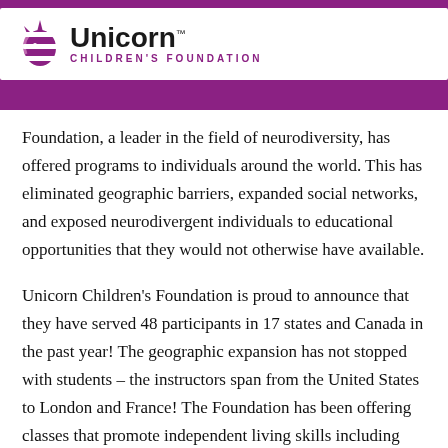Unicorn Children's Foundation
Foundation, a leader in the field of neurodiversity, has offered programs to individuals around the world. This has eliminated geographic barriers, expanded social networks, and exposed neurodivergent individuals to educational opportunities that they would not otherwise have available.
Unicorn Children's Foundation is proud to announce that they have served 48 participants in 17 states and Canada in the past year! The geographic expansion has not stopped with students – the instructors span from the United States to London and France! The Foundation has been offering classes that promote independent living skills including topics such as Daily Living, Coping Skills, and industry training courses for employment. For those who prefer in-person instruction, the Foundation also hosted a Summer